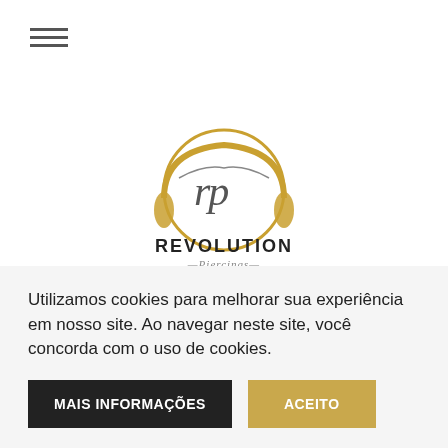[Figure (logo): Hamburger menu icon with three horizontal lines]
[Figure (logo): Revolution Piercings Implant Jewelry logo with golden circular headphone design and cursive/serif text]
[Figure (other): User account icon (person with plus sign) and shopping cart icon in grey]
Buscar produtos
Buscar
Utilizamos cookies para melhorar sua experiência em nosso site. Ao navegar neste site, você concorda com o uso de cookies.
MAIS INFORMAÇÕES
ACEITO